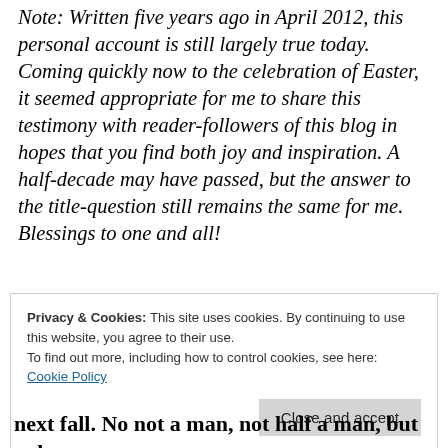Note: Written five years ago in April 2012, this personal account is still largely true today. Coming quickly now to the celebration of Easter, it seemed appropriate for me to share this testimony with reader-followers of this blog in hopes that you find both joy and inspiration. A half-decade may have passed, but the answer to the title-question still remains the same for me. Blessings to one and all!
Privacy & Cookies: This site uses cookies. By continuing to use this website, you agree to their use. To find out more, including how to control cookies, see here: Cookie Policy
Close and accept
next fall. No not a man, not half a man, but only